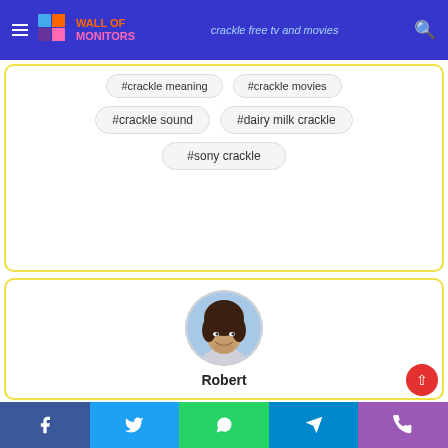Wall Of Monitors — crackle free tv and movies
#crackle meaning
#crackle movies
#crackle sound
#dairy milk crackle
#sony crackle
[Figure (photo): Circular portrait photo of a smiling young man with curly dark hair, named Robert]
Robert
Facebook, Twitter, WhatsApp, Telegram, Phone social share bar